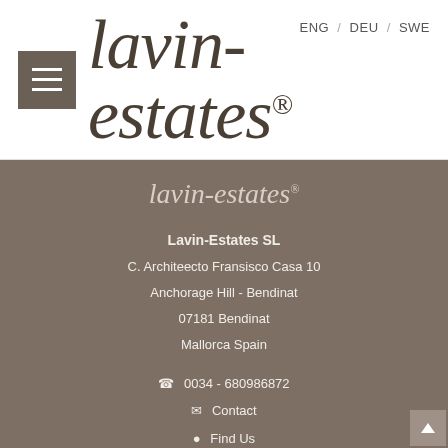ENG / DEU / SWE
lavin-estates®
[Figure (logo): lavin-estates® logo text in italic serif font on white header background with hamburger menu icon]
lavin-estates®
Lavin-Estates SL
C. Architeecto Fransisco Casa 10
Anchorage Hill - Bendinat
07181 Bendinat
Mallorca Spain
0034 - 680986872
Contact
Find Us
Facebook